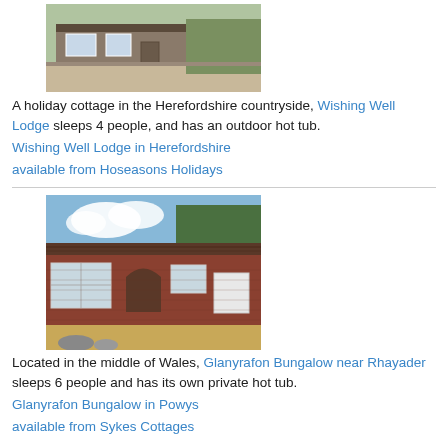[Figure (photo): Exterior of a holiday cottage in Herefordshire countryside, with gravel drive and garden]
A holiday cottage in the Herefordshire countryside, Wishing Well Lodge sleeps 4 people, and has an outdoor hot tub.
Wishing Well Lodge in Herefordshire
available from Hoseasons Holidays
[Figure (photo): Exterior of Glanyrafon Bungalow near Rhayader, Wales — a brick bungalow with arched doorway and dry grassy garden]
Located in the middle of Wales, Glanyrafon Bungalow near Rhayader sleeps 6 people and has its own private hot tub.
Glanyrafon Bungalow in Powys
available from Sykes Cottages